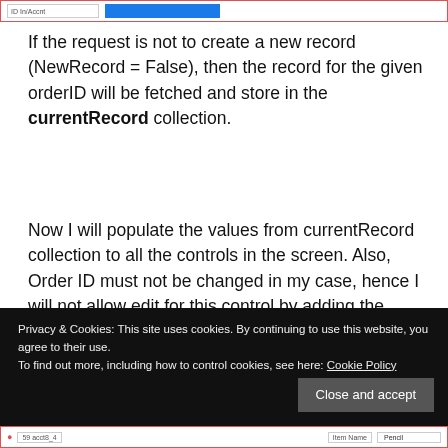[Figure (screenshot): Top portion of a UI screenshot showing a form field and a blue button, with a red border]
If the request is not to create a new record (NewRecord = False), then the record for the given orderID will be fetched and store in the currentRecord collection.
Now I will populate the values from currentRecord collection to all the controls in the screen. Also, Order ID must not be changed in my case, hence I will not allow edit for this control by adding the coding to its DisplayMode Property.
Privacy & Cookies: This site uses cookies. By continuing to use this website, you agree to their use.
To find out more, including how to control cookies, see here: Cookie Policy
[Figure (screenshot): Bottom portion of a UI screenshot showing form fields with item name 'Pencil', with a red border]